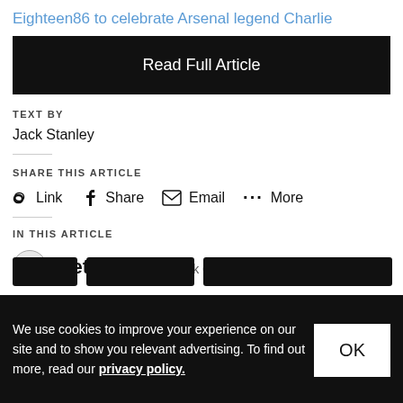Eighteen86 to celebrate Arsenal legend Charlie
Read Full Article
TEXT BY
Jack Stanley
SHARE THIS ARTICLE
Link  Share  Email  More
IN THIS ARTICLE
Vetements Rank 62
We use cookies to improve your experience on our site and to show you relevant advertising. To find out more, read our privacy policy.